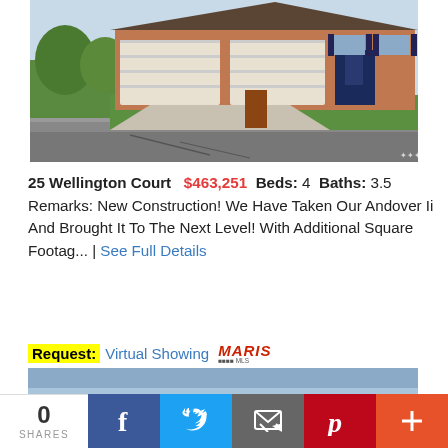[Figure (photo): Exterior photo of a brick ranch-style house with two-car garage, concrete driveway, green lawn, and blue shutters]
25 Wellington Court  $463,251  Beds: 4  Baths: 3.5  Remarks: New Construction! We Have Taken Our Andover Ii And Brought It To The Next Level! With Additional Square Footag... | See Full Details
Request: Virtual Showing  MARIS
[Figure (photo): Partial view of a second property photo showing blue sky]
0 SHARES
f  (Twitter bird)  (email icon)  (Pinterest P)  +